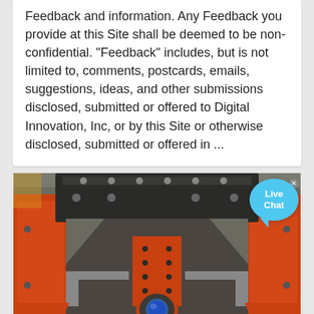Feedback and information. Any Feedback you provide at this Site shall be deemed to be non-confidential. "Feedback" includes, but is not limited to, comments, postcards, emails, suggestions, ideas, and other submissions disclosed, submitted or offered to Digital Innovation, Inc, or by this Site or otherwise disclosed, submitted or offered in ...
[Figure (photo): Industrial machinery photo showing a large orange heavy-duty piece of equipment, viewed from the front interior. The machine has an open bay with orange flanged side panels, a dark upper hood/canopy with bolted connections, a central orange structural member with bolt holes, and a round pipe/cylinder element at the center bottom with a reflective or globe-like fitting. Below the main image is a partial view of additional machinery. A Live Chat bubble is overlaid in the top-right corner.]